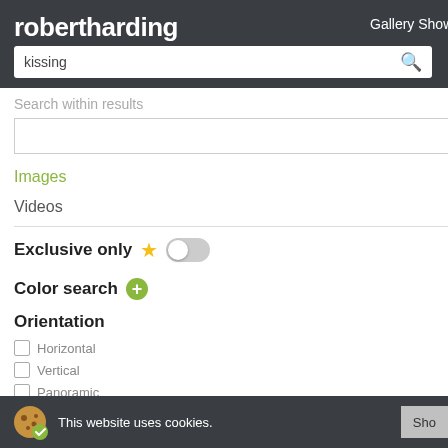robertharding  Gallery Showcase  Artist Profile
kissing (search query)
Search within results
Images  537
Videos  36
Exclusive only
Color search
Orientation
Horizontal
Vertical
Panoramic
[Figure (photo): Snowy landscape aerial view, partial crop]
[Figure (photo): Man with sled dogs in a snowy winter landscape, dogs kissing or nuzzling]
[Figure (photo): Two women leaning over a baby or child, one appears to be kissing the child]
This website uses cookies.  Sho